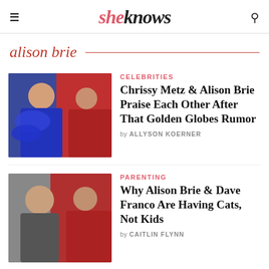sheknows
alison brie
CELEBRITIES
Chrissy Metz & Alison Brie Praise Each Other After That Golden Globes Rumor
by ALLYSON KOERNER
[Figure (photo): Photo of Chrissy Metz and Alison Brie at an awards event, Chrissy in a blue dress and Alison in red]
PARENTING
Why Alison Brie & Dave Franco Are Having Cats, Not Kids
by CAITLIN FLYNN
[Figure (photo): Photo of Dave Franco and Alison Brie at a red carpet event]